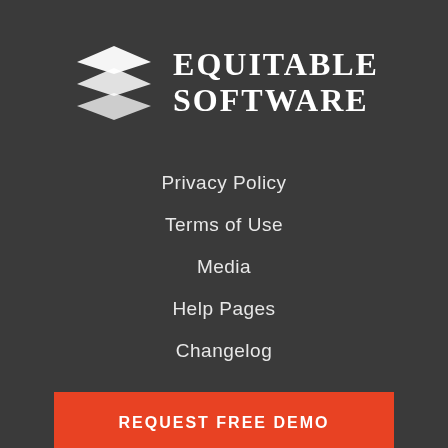[Figure (logo): Equitable Software logo: stacked white chevron/layer shapes on dark background with text EQUITABLE SOFTWARE in serif uppercase]
Privacy Policy
Terms of Use
Media
Help Pages
Changelog
REQUEST FREE DEMO